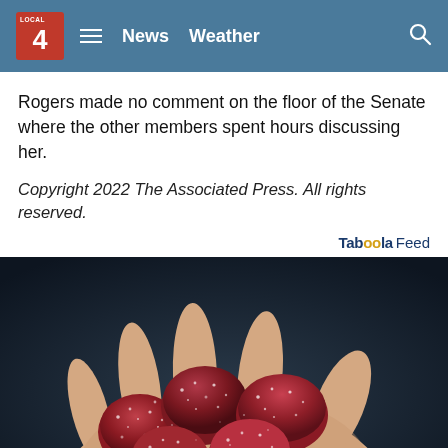LOCAL 4 News Weather
Rogers made no comment on the floor of the Senate where the other members spent hours discussing her.
Copyright 2022 The Associated Press. All rights reserved.
Taboola Feed
[Figure (photo): A hand holding several dark red sugar-coated gummy candies against a dark background]